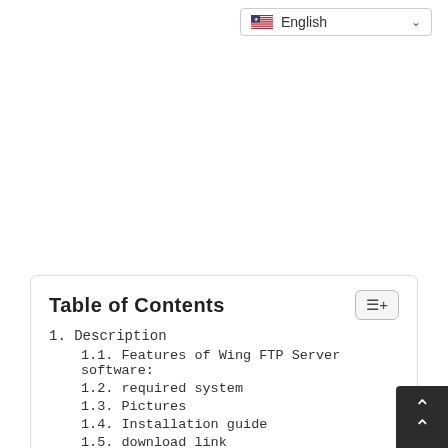[Figure (screenshot): Language selector dropdown showing English with US flag and chevron]
Table of Contents
1. Description
1.1. Features of Wing FTP Server software:
1.2. required system
1.3. Pictures
1.4. Installation guide
1.5. download link